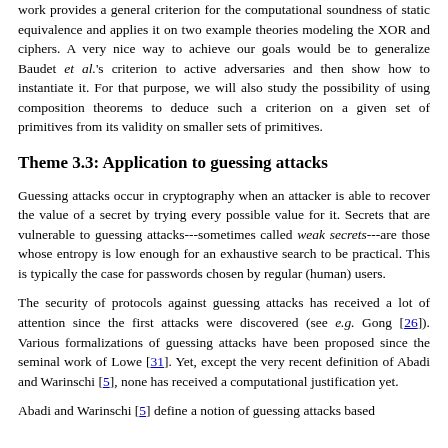work provides a general criterion for the computational soundness of static equivalence and applies it on two example theories modeling the XOR and ciphers. A very nice way to achieve our goals would be to generalize Baudet et al.'s criterion to active adversaries and then show how to instantiate it. For that purpose, we will also study the possibility of using composition theorems to deduce such a criterion on a given set of primitives from its validity on smaller sets of primitives.
Theme 3.3: Application to guessing attacks
Guessing attacks occur in cryptography when an attacker is able to recover the value of a secret by trying every possible value for it. Secrets that are vulnerable to guessing attacks---sometimes called weak secrets---are those whose entropy is low enough for an exhaustive search to be practical. This is typically the case for passwords chosen by regular (human) users.
The security of protocols against guessing attacks has received a lot of attention since the first attacks were discovered (see e.g. Gong [26]). Various formalizations of guessing attacks have been proposed since the seminal work of Lowe [31]. Yet, except the very recent definition of Abadi and Warinschi [5], none has received a computational justification yet.
Abadi and Warinschi [5] define a notion of guessing attacks based